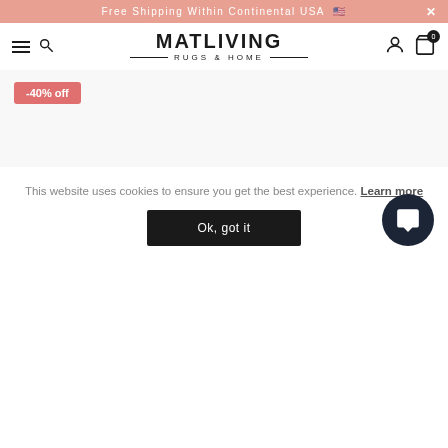Free Shipping Within Continental USA 🇺🇸  ×
MATLIVING RUGS & HOME
-40% off
This website uses cookies to ensure you get the best experience. Learn more
Ok, got it